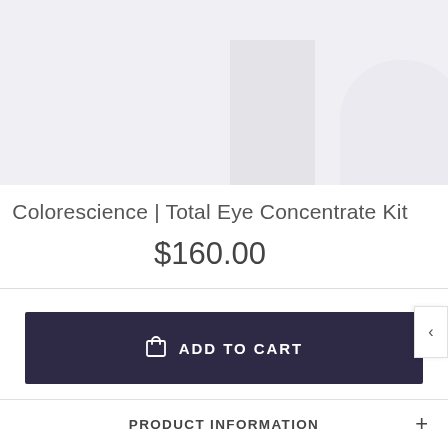[Figure (photo): Product image placeholder area showing partial product images against a light gray background]
Colorescience | Total Eye Concentrate Kit
$160.00
ADD TO CART
PRODUCT INFORMATION